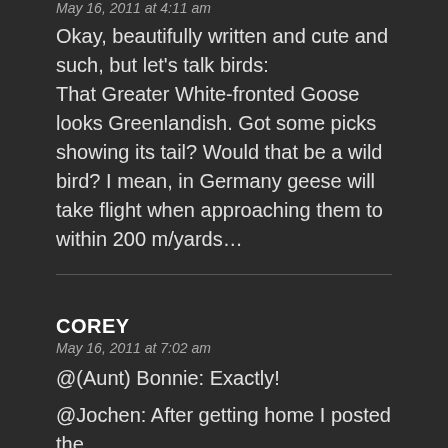May 16, 2011 at 4:11 am
Okay, beautifully written and cute and such, but let's talk birds: That Greater White-fronted Goose looks Greenlandish. Got some picks showing its tail? Would that be a wild bird? I mean, in Germany geese will take flight when approaching them to within 200 m/yards…
COREY
May 16, 2011 at 7:02 am
@(Aunt) Bonnie: Exactly!
@Jochen: After getting home I posted the